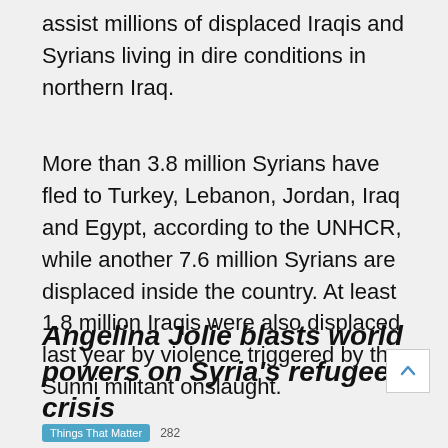assist millions of displaced Iraqis and Syrians living in dire conditions in northern Iraq.
More than 3.8 million Syrians have fled to Turkey, Lebanon, Jordan, Iraq and Egypt, according to the UNHCR, while another 7.6 million Syrians are displaced inside the country. At least 1.8 million Iraqis were also displaced last year by violence triggered by the Sunni militant onslaught.
Angelina Jolie blasts world powers on Syria's refugee crisis
Things That Matter   282